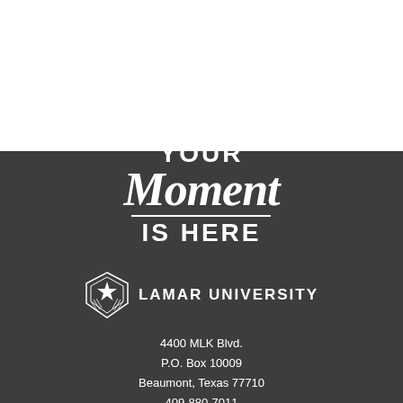YOUR Moment IS HERE
[Figure (logo): Lamar University logo: a stylized star/shield emblem in white, with the text LAMAR UNIVERSITY in bold white uppercase letters]
4400 MLK Blvd.
P.O. Box 10009
Beaumont, Texas 77710
409-880-7011